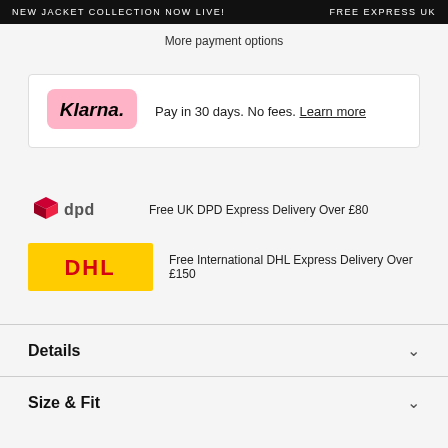NEW JACKET COLLECTION NOW LIVE!   FREE EXPRESS UK
More payment options
[Figure (logo): Klarna logo — pink rounded rectangle with italic bold text 'Klarna.']
Pay in 30 days. No fees. Learn more
[Figure (logo): DPD logo — red 3D cube icon with 'dpd' text]
Free UK DPD Express Delivery Over £80
[Figure (logo): DHL logo — yellow background with red DHL text]
Free International DHL Express Delivery Over £150
Details
Size & Fit